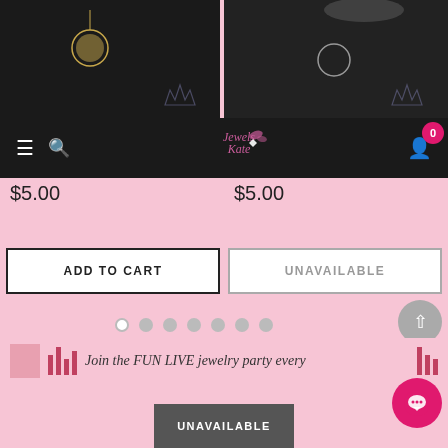[Figure (photo): Product photo of jewelry on black background - left product (They Call Me Mama - Gold)]
[Figure (photo): Product photo of jewelry on black background with hand - right product (A Charmed Society - Silver)]
[Figure (logo): Jewels Kate logo with butterfly/diamond motif in pink cursive text]
They Call Me Mama - Gold
A Charmed Society - Silver
$5.00
$5.00
ADD TO CART
UNAVAILABLE
Join the FUN LIVE jewelry party every
UNAVAILABLE